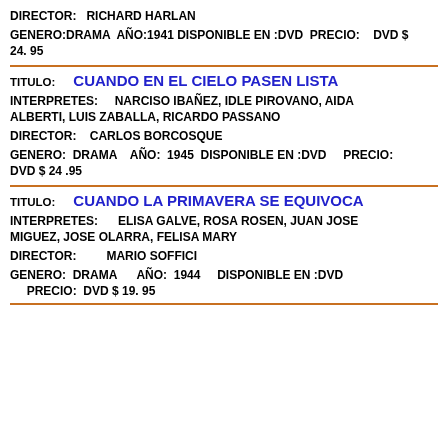DIRECTOR:   RICHARD HARLAN
GENERO:DRAMA  AÑO:1941 DISPONIBLE EN :DVD  PRECIO:    DVD $ 24. 95
TITULO:           CUANDO EN EL CIELO PASEN LISTA
INTERPRETES:      NARCISO IBAÑEZ, IDLE PIROVANO, AIDA ALBERTI, LUIS ZABALLA, RICARDO PASSANO
DIRECTOR:    CARLOS BORCOSQUE
GENERO:  DRAMA    AÑO:  1945  DISPONIBLE EN :DVD     PRECIO:  DVD $ 24 .95
TITULO:           CUANDO LA PRIMAVERA SE EQUIVOCA
INTERPRETES:      ELISA GALVE, ROSA ROSEN, JUAN JOSE MIGUEZ, JOSE OLARRA, FELISA MARY
DIRECTOR:         MARIO SOFFICI
GENERO:  DRAMA     AÑO:  1944    DISPONIBLE EN :DVD    PRECIO:  DVD $ 19. 95